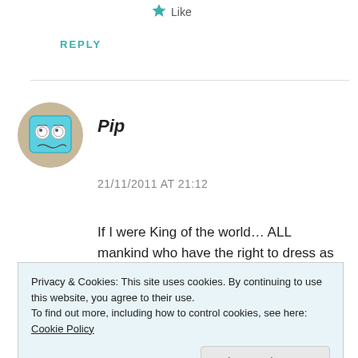Like
REPLY
Pip
21/11/2011 AT 21:12
If I were King of the world... ALL mankind who have the right to dress as they so wished, in combination with any colour facepaint they might choose to put on their faces. They may
Privacy & Cookies: This site uses cookies. By continuing to use this website, you agree to their use.
To find out more, including how to control cookies, see here: Cookie Policy
Close and accept